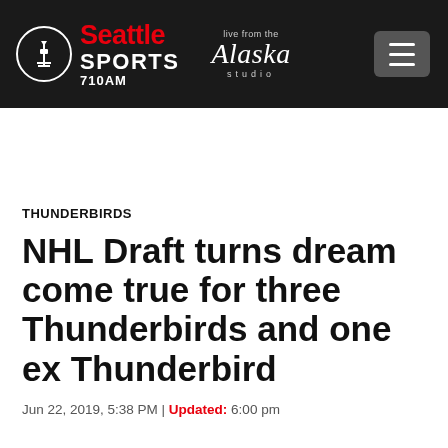Seattle Sports 710AM — Live from the Alaska studio
THUNDERBIRDS
NHL Draft turns dream come true for three Thunderbirds and one ex Thunderbird
Jun 22, 2019, 5:38 PM | Updated: 6:00 pm